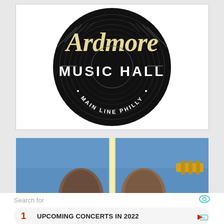[Figure (logo): Ardmore Music Hall logo: circular black vinyl record design with 'Ardmore' in large cream script at top, 'MUSIC HALL' in white bold letters across center, 'MAIN LINE PHILLY' in curved text at bottom]
[Figure (photo): Two people with braided hair leaning heads together against a blue sky background, with a guitar visible on the right side and a bright vertical light beam between them]
Search for
1   UPCOMING CONCERTS IN 2022
2   KNOCK-KNOCK JOKES FOR KIDS